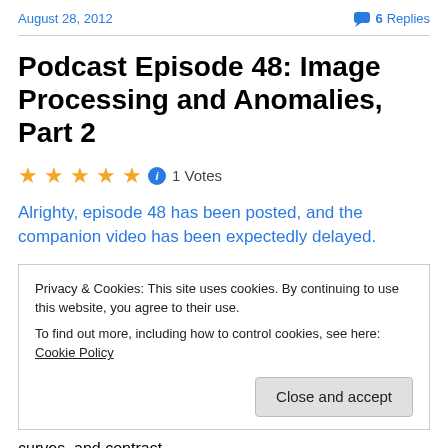August 28, 2012   💬 6 Replies
Podcast Episode 48: Image Processing and Anomalies, Part 2
★★★★★ ℹ 1 Votes
Alrighty, episode 48 has been posted, and the companion video has been expectedly delayed.
Privacy & Cookies: This site uses cookies. By continuing to use this website, you agree to their use. To find out more, including how to control cookies, see here: Cookie Policy Close and accept
curves, and contrast.